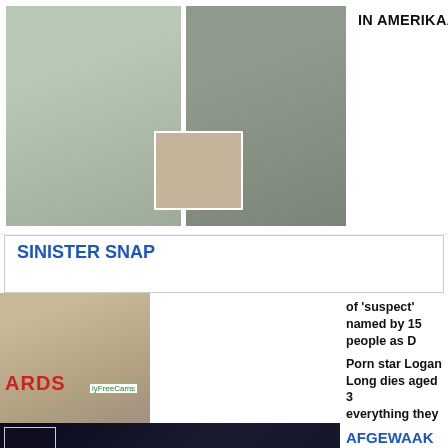[Figure (photo): Collage of photos showing people outdoors]
IN AMERIKAANSE NUUS
SINISTER SNAP
[Figure (photo): Man with glasses in black jacket at awards event, ARDS and MyFreeCams signage visible]
of 'suspect' named by 15 people as D
Porn star Logan Long dies aged 3 everything they could'
[Figure (photo): Night scene with police lights, shooting scene outside McDonald's]
AFGEWAAK
Ten minste 2 dood na 10 people gu shooting outside McDonald's
[Figure (photo): Street scene at night]
GRIM VIND